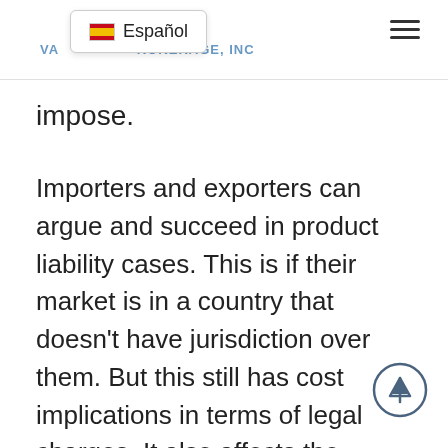Español — VA...ROKERAGE, INC
impose.
Importers and exporters can argue and succeed in product liability cases. This is if their market is in a country that doesn't have jurisdiction over them. But this still has cost implications in terms of legal charges. It also affects the reputation of the business and tifle it...